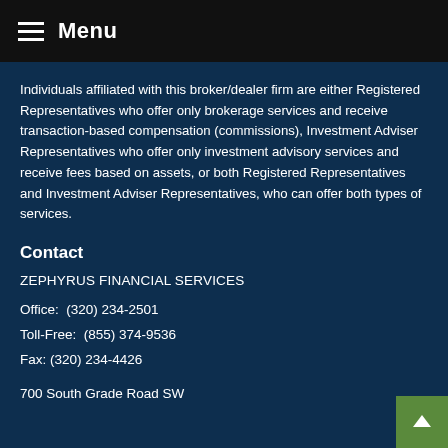Menu
Individuals affiliated with this broker/dealer firm are either Registered Representatives who offer only brokerage services and receive transaction-based compensation (commissions), Investment Adviser Representatives who offer only investment advisory services and receive fees based on assets, or both Registered Representatives and Investment Adviser Representatives, who can offer both types of services.
Contact
ZEPHYRUS FINANCIAL SERVICES
Office:  (320) 234-2501
Toll-Free:  (855) 374-9536
Fax: (320) 234-4426
700 South Grade Road SW